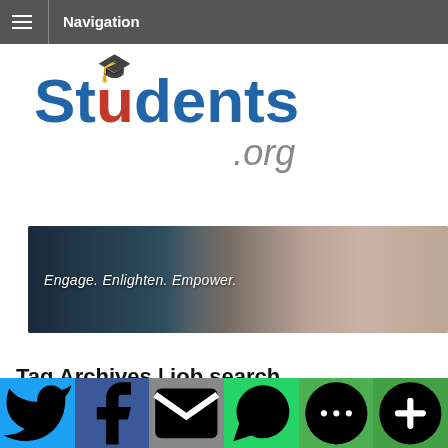Navigation
[Figure (logo): Students.org logo with graduation cap on the letter u]
[Figure (photo): Banner with blurred people in background and text 'Engage. Enlighten. Empower.']
Tag Archives | job search
[Figure (infographic): Social sharing bar with Twitter, Facebook, Email, WhatsApp, SMS, and More buttons]